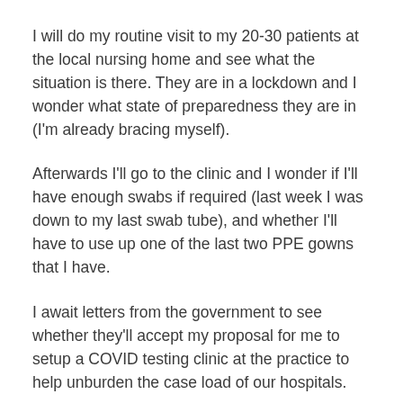I will do my routine visit to my 20-30 patients at the local nursing home and see what the situation is there. They are in a lockdown and I wonder what state of preparedness they are in (I'm already bracing myself).
Afterwards I'll go to the clinic and I wonder if I'll have enough swabs if required (last week I was down to my last swab tube), and whether I'll have to use up one of the last two PPE gowns that I have.
I await letters from the government to see whether they'll accept my proposal for me to setup a COVID testing clinic at the practice to help unburden the case load of our hospitals.